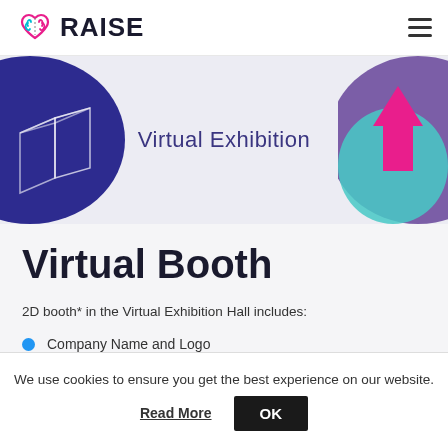RAISE — Virtual Exhibition
[Figure (illustration): Banner with left dark-blue half-circle containing a wireframe 3D shape, center text 'Virtual Exhibition', and right purple/pink/cyan half-circle with a pink upward arrow]
Virtual Booth
2D booth* in the Virtual Exhibition Hall includes:
Company Name and Logo
We use cookies to ensure you get the best experience on our website.  Read More  OK